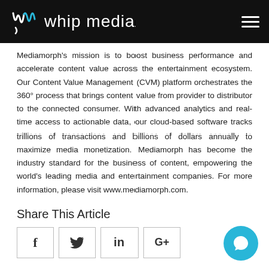whip media
Mediamorph's mission is to boost business performance and accelerate content value across the entertainment ecosystem. Our Content Value Management (CVM) platform orchestrates the 360° process that brings content value from provider to distributor to the connected consumer. With advanced analytics and real-time access to actionable data, our cloud-based software tracks trillions of transactions and billions of dollars annually to maximize media monetization. Mediamorph has become the industry standard for the business of content, empowering the world's leading media and entertainment companies. For more information, please visit www.mediamorph.com.
Share This Article